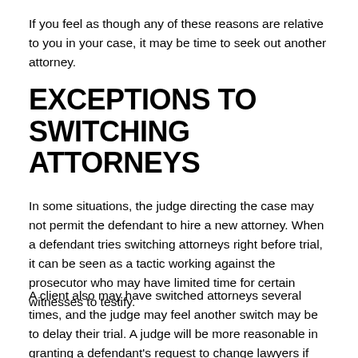If you feel as though any of these reasons are relative to you in your case, it may be time to seek out another attorney.
EXCEPTIONS TO SWITCHING ATTORNEYS
In some situations, the judge directing the case may not permit the defendant to hire a new attorney. When a defendant tries switching attorneys right before trial, it can be seen as a tactic working against the prosecutor who may have limited time for certain witnesses to testify.
A client also may have switched attorneys several times, and the judge may feel another switch may be to delay their trial. A judge will be more reasonable in granting a defendant's request to change lawyers if there are fundamental differences between client and attorney, or if the attorney is failing to file motions that could